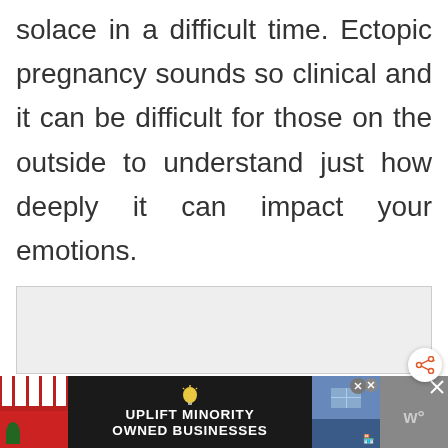solace in a difficult time. Ectopic pregnancy sounds so clinical and it can be difficult for those on the outside to understand just how deeply it can impact your emotions.
[Figure (other): Gray advertisement placeholder box]
[Figure (infographic): Bottom banner advertisement: 'UPLIFT MINORITY OWNED BUSINESSES' with store illustration on left, close button, and weather widget on right]